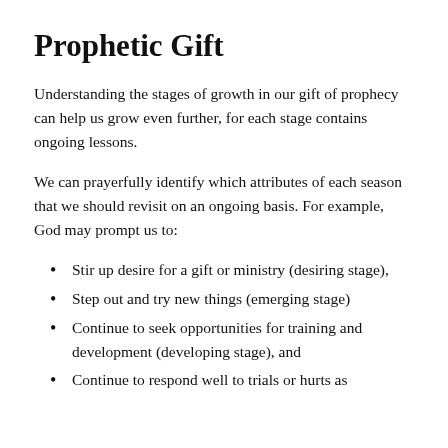Prophetic Gift
Understanding the stages of growth in our gift of prophecy can help us grow even further, for each stage contains ongoing lessons.
We can prayerfully identify which attributes of each season that we should revisit on an ongoing basis. For example, God may prompt us to:
Stir up desire for a gift or ministry (desiring stage),
Step out and try new things (emerging stage)
Continue to seek opportunities for training and development (developing stage), and
Continue to respond well to trials or hurts as